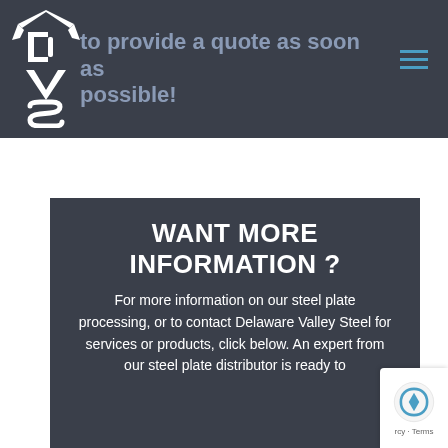[Figure (logo): DVS logo - stylized letters D, V, S in white on dark background]
to provide a quote as soon as possible!
WANT MORE INFORMATION ?
For more information on our steel plate processing, or to contact Delaware Valley Steel for services or products, click below. An expert from our steel plate distributor is ready to